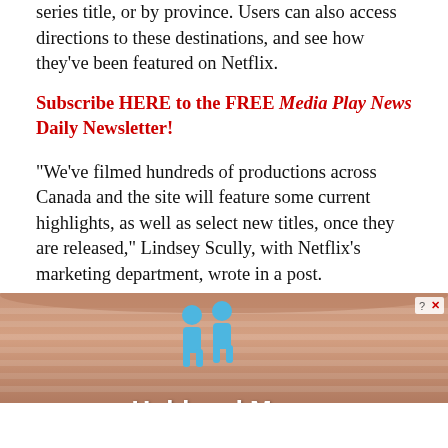series title, or by province. Users can also access directions to these destinations, and see how they've been featured on Netflix.
Subscribe HERE to the FREE Media Play News Daily Newsletter!
“We’ve filmed hundreds of productions across Canada and the site will feature some current highlights, as well as select new titles, once they are released,” Lindsey Scully, with Netflix’s marketing department, wrote in a post.
Netflix cited third-party data that suggests viewers of content filmed in Canada are more than twice as likely to want to visit the country. Indeed, the data found that viewers streaming the series “Somebody…
[Figure (screenshot): Advertisement banner showing a wooden barrel background with two blue human figure icons and the text 'Hold and Move'. A close button with X and question mark appears in the top right corner.]